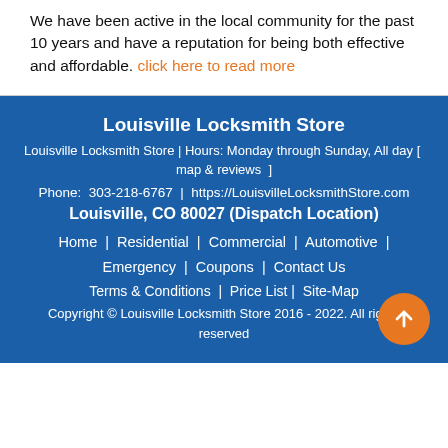We have been active in the local community for the past 10 years and have a reputation for being both effective and affordable. click here to read more
Louisville Locksmith Store
Louisville Locksmith Store | Hours: Monday through Sunday, All day [ map & reviews ]
Phone: 303-218-6767 | https://LouisvilleLocksmithStore.com
Louisville, CO 80027 (Dispatch Location)
Home | Residential | Commercial | Automotive | Emergency | Coupons | Contact Us
Terms & Conditions | Price List | Site-Map
Copyright © Louisville Locksmith Store 2016 - 2022. All rights reserved